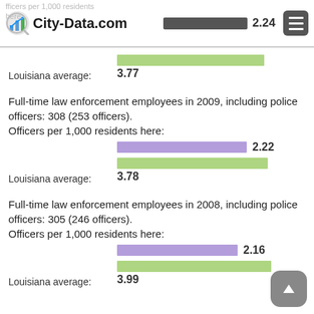City-Data.com — Officers per 1,000 residents here: 2.24
Louisiana average: 3.77
Full-time law enforcement employees in 2009, including police officers: 308 (253 officers). Officers per 1,000 residents here: 2.22
Louisiana average: 3.78
Full-time law enforcement employees in 2008, including police officers: 305 (246 officers). Officers per 1,000 residents here: 2.16
Louisiana average: 3.99